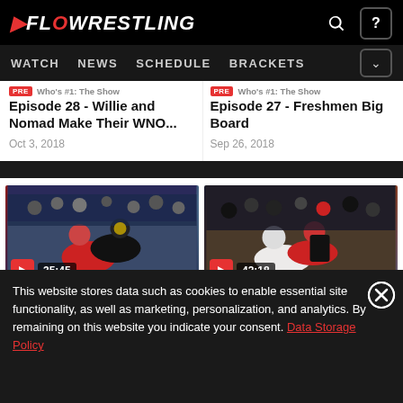FLOWRESTLING | WATCH | NEWS | SCHEDULE | BRACKETS
Who's #1: The Show
Episode 28 - Willie and Nomad Make Their WNO...
Oct 3, 2018
Who's #1: The Show
Episode 27 - Freshmen Big Board
Sep 26, 2018
[Figure (photo): Wrestling match thumbnail with play button, duration 35:45]
[Figure (photo): Wrestling match thumbnail with play button, duration 42:18]
This website stores data such as cookies to enable essential site functionality, as well as marketing, personalization, and analytics. By remaining on this website you indicate your consent. Data Storage Policy